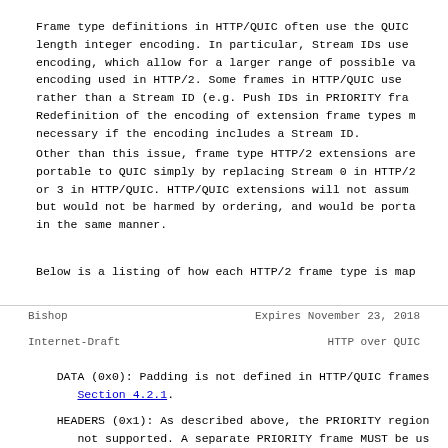Frame type definitions in HTTP/QUIC often use the QUIC length integer encoding.  In particular, Stream IDs use encoding, which allow for a larger range of possible va encoding used in HTTP/2.  Some frames in HTTP/QUIC use rather than a Stream ID (e.g.  Push IDs in PRIORITY fra Redefinition of the encoding of extension frame types m necessary if the encoding includes a Stream ID.
Other than this issue, frame type HTTP/2 extensions are portable to QUIC simply by replacing Stream 0 in HTTP/2 or 3 in HTTP/QUIC.  HTTP/QUIC extensions will not assum but would not be harmed by ordering, and would be porta in the same manner.
Below is a listing of how each HTTP/2 frame type is map
Bishop                    Expires November 23, 2018
Internet-Draft                    HTTP over QUIC
DATA (0x0):  Padding is not defined in HTTP/QUIC frames Section 4.2.1.
HEADERS (0x1):  As described above, the PRIORITY region not supported.  A separate PRIORITY frame MUST be us